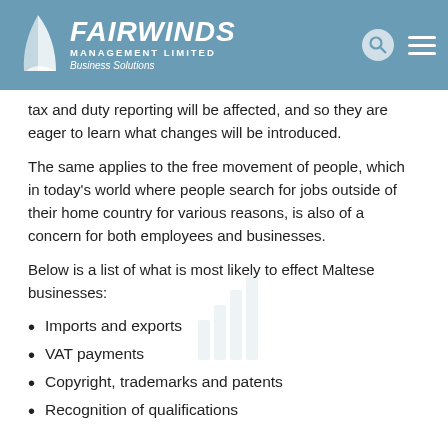FAIRWINDS MANAGEMENT LIMITED Business Solutions
tax and duty reporting will be affected, and so they are eager to learn what changes will be introduced.
The same applies to the free movement of people, which in today's world where people search for jobs outside of their home country for various reasons, is also of a concern for both employees and businesses.
Below is a list of what is most likely to effect Maltese businesses:
Imports and exports
VAT payments
Copyright, trademarks and patents
Recognition of qualifications